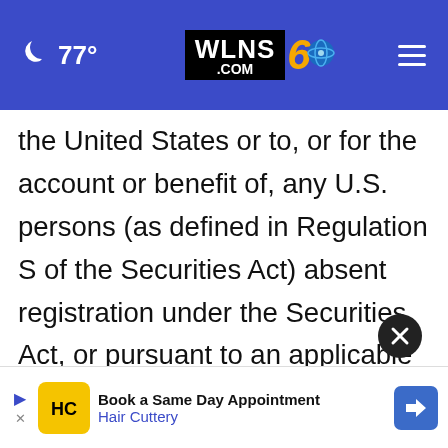77° WLNS 6 .COM
the United States or to, or for the account or benefit of, any U.S. persons (as defined in Regulation S of the Securities Act) absent registration under the Securities Act, or pursuant to an applicable exemption from the registration requirements of the Securities Act and applicable state securities laws. The Notes will be offered only to "qualified institutional buyers" under Rule 144A of the Securities Act or, outside the United States, to persons other than "U.S. [persons] under Regulation S.
[Figure (screenshot): Advertisement banner for Hair Cuttery: Book a Same Day Appointment]